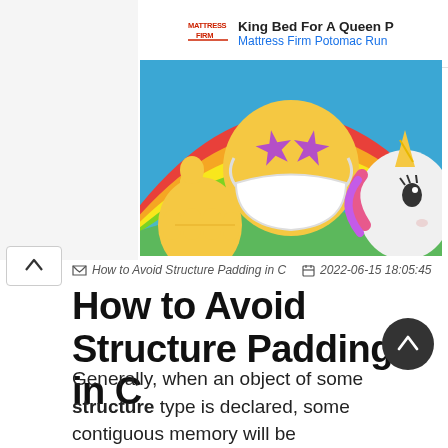[Figure (screenshot): Browser screenshot showing a Mattress Firm ad at the top right with logo, 'King Bed For A Queen P...' title and 'Mattress Firm Potomac Run...' subtitle in blue. Ad close/play controls visible below.]
[Figure (illustration): Hero image showing colorful emojis on a rainbow background: a thumbs up emoji on left, a yellow face emoji with purple star eyes and a white face mask in center, and a unicorn emoji on right.]
How to Avoid Structure Padding in C   2022-06-15 18:05:45
How to Avoid Structure Padding in C
Generally, when an object of some structure type is declared, some contiguous memory will be